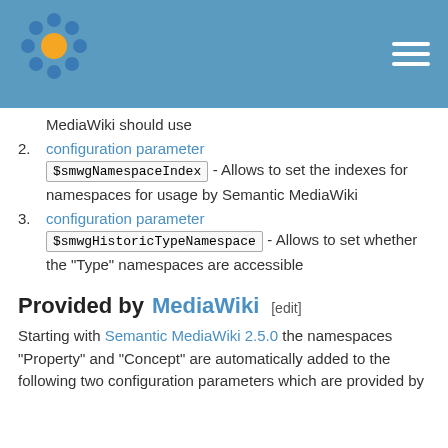Semantic MediaWiki wiki page header with logo and navigation
MediaWiki should use
configuration parameter $smwgNamespaceIndex - Allows to set the indexes for namespaces for usage by Semantic MediaWiki
configuration parameter $smwgHistoricTypeNamespace - Allows to set whether the "Type" namespaces are accessible
Provided by MediaWiki [edit]
Starting with Semantic MediaWiki 2.5.0 the namespaces "Property" and "Concept" are automatically added to the following two configuration parameters which are provided by